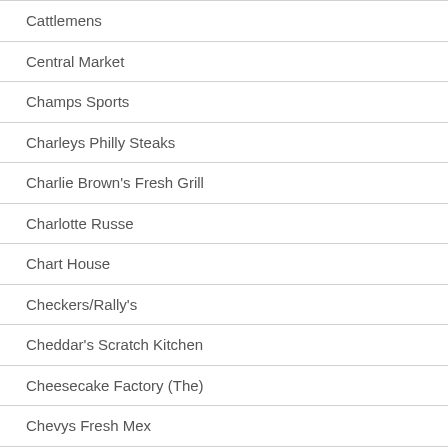Cattlemens
Central Market
Champs Sports
Charleys Philly Steaks
Charlie Brown's Fresh Grill
Charlotte Russe
Chart House
Checkers/Rally's
Cheddar's Scratch Kitchen
Cheesecake Factory (The)
Chevys Fresh Mex
Chick-fil-A
Chicken Express
Chili's